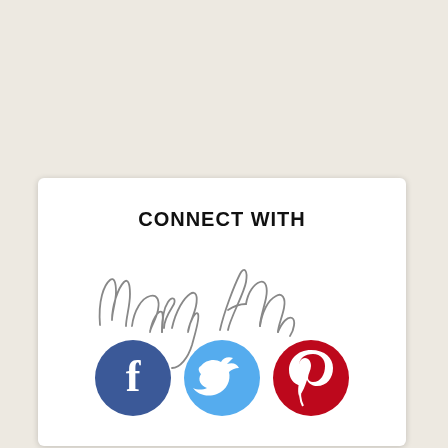CONNECT WITH
[Figure (illustration): Handwritten cursive signature reading 'Mary Ann' in gray ink]
[Figure (infographic): Three social media icons: Facebook (blue circle with white F), Twitter (sky blue circle with white bird), Pinterest (dark red circle with white P logo)]